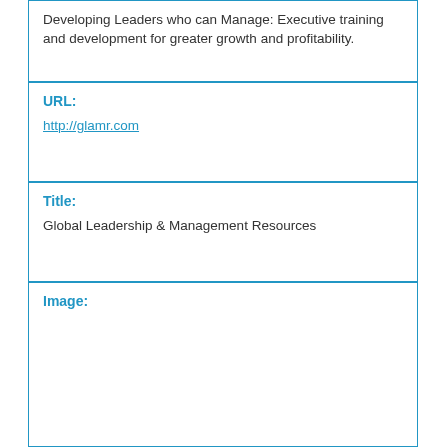Developing Leaders who can Manage: Executive training and development for greater growth and profitability.
URL: http://glamr.com
Title: Global Leadership & Management Resources
Image: